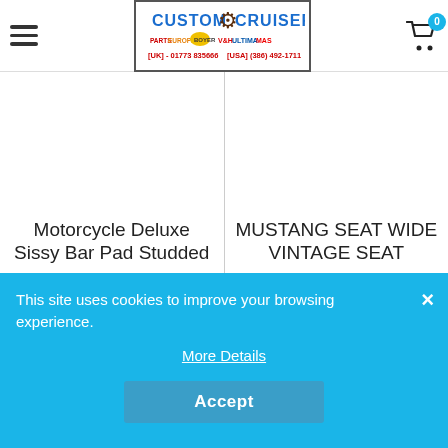[Figure (logo): Custom Cruisers logo with phone numbers [UK] - 01773 835666 [USA] (386) 492-1711]
Motorcycle Deluxe Sissy Bar Pad Studded
MUSTANG SEAT WIDE VINTAGE SEAT
This site uses cookies to improve your browsing experience.
More Details
Accept